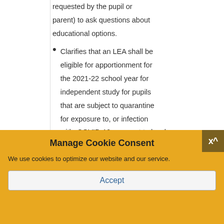requested by the pupil or parent) to ask questions about educational options.
Clarifies that an LEA shall be eligible for apportionment for the 2021-22 school year for independent study for pupils that are subject to quarantine for exposure to, or infection with, COVID-19 pursuant to local or state health guidance. LEAs
Manage Cookie Consent
We use cookies to optimize our website and our service.
Accept